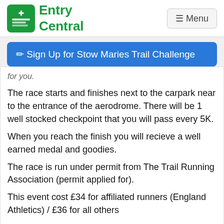Entry Central | Menu
✏ Sign Up for Stow Maries Trail Challenge
for you.
The race starts and finishes next to the carpark near to the entrance of the aerodrome. There will be 1 well stocked checkpoint that you will pass every 5K.
When you reach the finish you will recieve a well earned medal and goodies.
The race is run under permit from The Trail Running Association (permit applied for).
This event cost £34 for affiliated runners (England Athletics) / £36 for all others
Start time: Wave 1 9.30am then a rolling start.